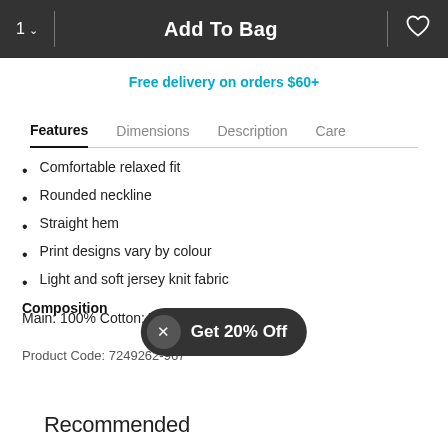1 ∨   Add To Bag   ♡
Free delivery on orders $60+
Features   Dimensions   Description   Care
Comfortable relaxed fit
Rounded neckline
Straight hem
Print designs vary by colour
Light and soft jersey knit fabric
Composition
Main: 100% Cotton; Trim: 100% Cotton.
Product Code: 7249262-967
Get 20% Off
Recommended